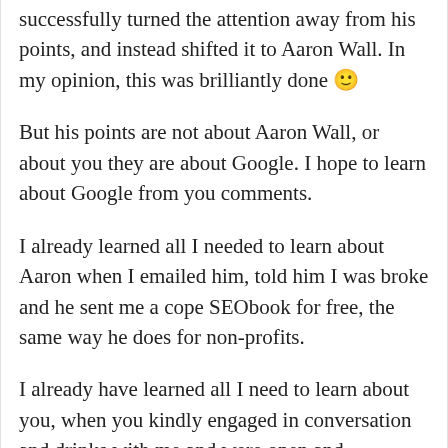successfully turned the attention away from his points, and instead shifted it to Aaron Wall. In my opinion, this was brilliantly done 🙂
But his points are not about Aaron Wall, or about you they are about Google. I hope to learn about Google from you comments.
I already learned all I needed to learn about Aaron when I emailed him, told him I was broke and he sent me a cope SEObook for free, the same way he does for non-profits.
I already have learned all I need to learn about you, when you kindly engaged in conversation and drinks with me and were open and responsive to my communication.
I just want to learn about Google. Even if you felt each of his points had no validity whatsoever, which I doubt, I think we all know that Aaron has a